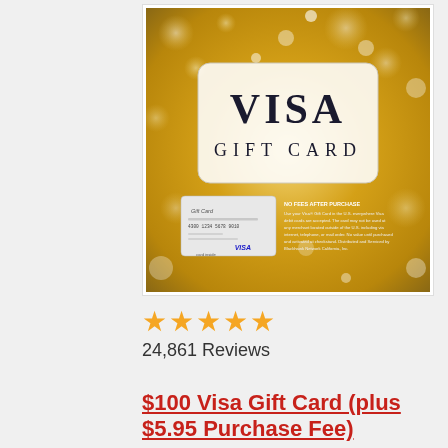[Figure (photo): Visa Gift Card product image showing a gold glitter background with 'VISA GIFT CARD' text in large letters, a small gift card insert showing '4300 1234 5678 9010', fine print reading 'NO FEES AFTER PURCHASE' with usage details about Blackhawk Network California Inc., and 'card inside' text at bottom left.]
★★★★★ 24,861 Reviews
$100 Visa Gift Card (plus $5.95 Purchase Fee)